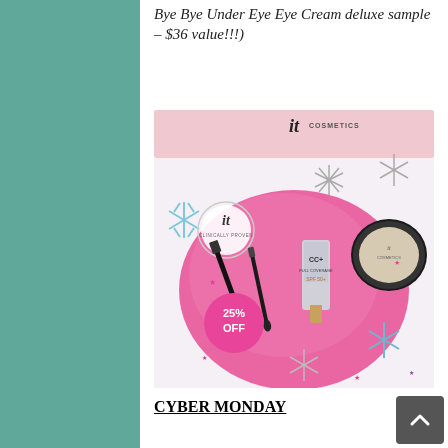Bye Bye Under Eye Eye Cream deluxe sample – $36 value!!!)
[Figure (photo): IT Cosmetics advertisement showing makeup products (mascara, eyeliner, CC cream, powder compact) on a pink background with silver and blue snowflakes. A pink circle badge reads '25% OFF'. The IT Cosmetics logo appears at the top on a light pink banner.]
CYBER MONDAY